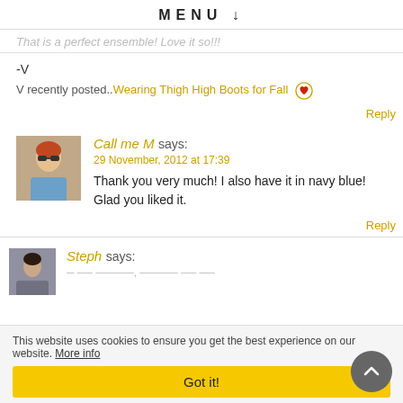MENU
That is a perfect ensemble! Love it so!!!
-V
V recently posted..Wearing Thigh High Boots for Fall
Reply
Call me M says:
29 November, 2012 at 17:39
Thank you very much! I also have it in navy blue! Glad you liked it.
Reply
Steph says:
This website uses cookies to ensure you get the best experience on our website. More info
Got it!